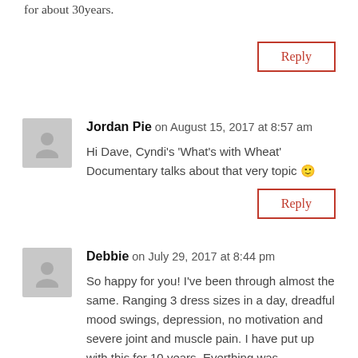for about 30years.
Reply
Jordan Pie on August 15, 2017 at 8:57 am
Hi Dave, Cyndi's 'What's with Wheat' Documentary talks about that very topic 🙂
Reply
Debbie on July 29, 2017 at 8:44 pm
So happy for you! I've been through almost the same. Ranging 3 dress sizes in a day, dreadful mood swings, depression, no motivation and severe joint and muscle pain. I have put up with this for 10 years. Everthing was suspected to be causing my problems from hormones to